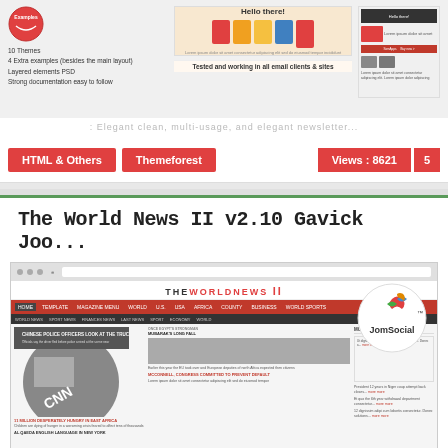[Figure (screenshot): Screenshot of an email newsletter template product with book/stationery imagery, showing 10 Themes, 4 Extra examples, Layered elements PSD, Strong documentation easy to follow. Text says Tested and working in all email clients & sites.]
: Elegant clean, multi-usage, and elegant newsletter...
HTML & Others
Themeforest
Views : 8621
5
The World News II v2.10 Gavick Joo...
[Figure (screenshot): Screenshot of The World News II Joomla template by GavickPro showing a news website layout with JomSocial integration badge. Features red navigation bar, news articles with images including CNN truck and political content.]